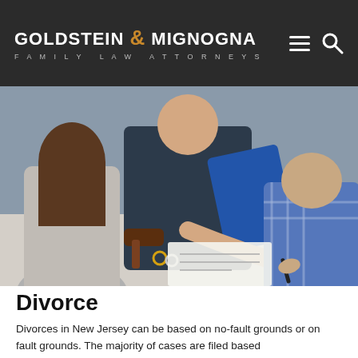GOLDSTEIN & MIGNOGNA FAMILY LAW ATTORNEYS
[Figure (photo): Photo of a lawyer pointing at a document on a table with two clients seated across, a gavel and wedding rings visible on the table, lawyer holding a blue clipboard]
Divorce
Divorces in New Jersey can be based on no-fault grounds or on fault grounds. The majority of cases are filed based